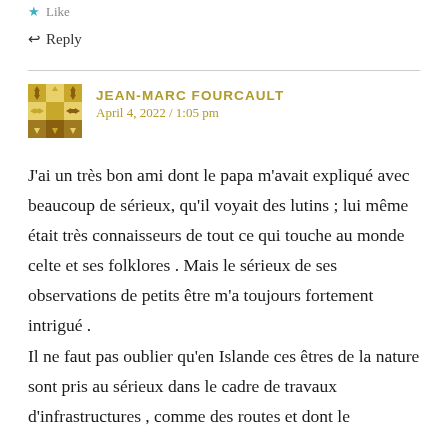Like
↩ Reply
JEAN-MARC FOURCAULT
April 4, 2022 / 1:05 pm
J'ai un très bon ami dont le papa m'avait expliqué avec beaucoup de sérieux, qu'il voyait des lutins ; lui même était très connaisseurs de tout ce qui touche au monde celte et ses folklores . Mais le sérieux de ses observations de petits être m'a toujours fortement intrigué .
Il ne faut pas oublier qu'en Islande ces êtres de la nature sont pris au sérieux dans le cadre de travaux d'infrastructures , comme des routes et dont le